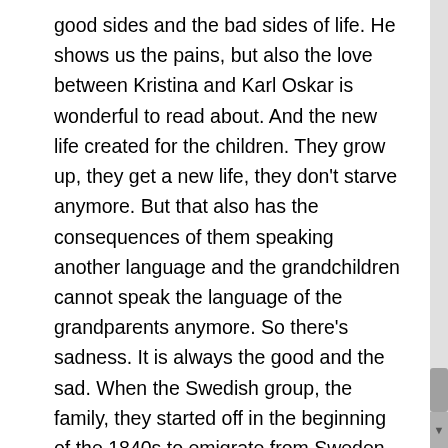good sides and the bad sides of life. He shows us the pains, but also the love between Kristina and Karl Oskar is wonderful to read about. And the new life created for the children. They grow up, they get a new life, they don't starve anymore. But that also has the consequences of them speaking another language and the grandchildren cannot speak the language of the grandparents anymore. So there's sadness. It is always the good and the sad. When the Swedish group, the family, they started off in the beginning of the 1840s to emigrate from Sweden to America, and they were the first family in their area at all. Nobody knew what this new big country was, and everyone advised against it. But they decided to go. And there's one very touching scene where the parents of Karl Oskar, they stand by the gates and they wave goodbye to both of their sons. They have one daughter still left in Sweden. And the emigrants, they are all very excited and happy because they go to a new life. Of course, a bit sad, because they say goodbye to their parents. But the father, he says to somebody, I don't remember who asked